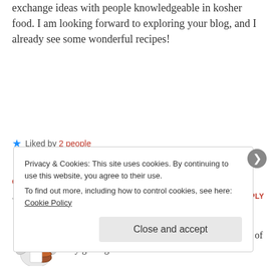exchange ideas with people knowledgeable in kosher food. I am looking forward to exploring your blog, and I already see some wonderful recipes!
★ Liked by 2 people
COOKING FOR THE TIME CHALLENGED
July 27, 2016 at 8:28 PM
LOG IN TO REPLY
[Figure (illustration): Cartoon chef avatar wearing a white hat and apron, holding a pot]
Me too! I tried to like your recipes but for some reason I couldn't. The beet borscht reminded me of my great-grandmother's.
Privacy & Cookies: This site uses cookies. By continuing to use this website, you agree to their use. To find out more, including how to control cookies, see here: Cookie Policy
Close and accept